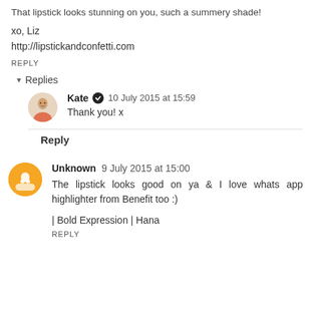That lipstick looks stunning on you, such a summery shade!
xo, Liz
http://lipstickandconfetti.com
REPLY
Replies
Kate  10 July 2015 at 15:59
Thank you! x
Reply
Unknown  9 July 2015 at 15:00
The lipstick looks good on ya & I love whats app highlighter from Benefit too :)
| Bold Expression | Hana
REPLY